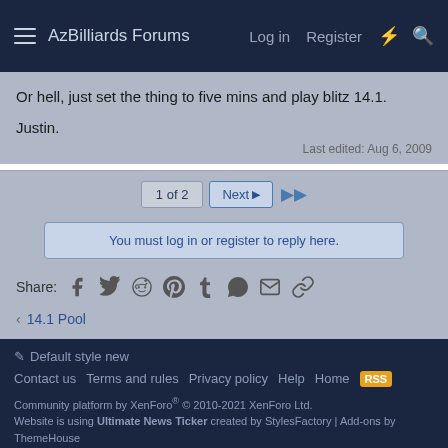AzBilliards Forums   Log in   Register
Or hell, just set the thing to five mins and play blitz 14.1.
Justin.
Last edited: Aug 6, 2009
1 of 2   Next ▶▶
You must log in or register to reply here.
Share:
‹ 14.1 Pool
Default style new   Contact us   Terms and rules   Privacy policy   Help   Home   Community platform by XenForo® © 2010-2021 XenForo Ltd.   Website is using Ultimate News Ticker created by StylesFactory | Add-ons by ThemeHouse